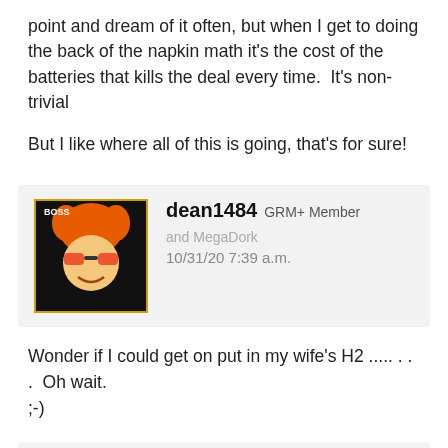point and dream of it often, but when I get to doing the back of the napkin math it's the cost of the batteries that kills the deal every time.  It's non-trivial
But I like where all of this is going, that's for sure!
dean1484  GRM+ Member  and MegaDork
10/31/20 7:39 a.m.
Wonder if I could get on put in my wife's H2 ..... . . .  Oh wait. ;-)
DaewooOfDeath  SuperDork
10/31/20 8:48 a.m.
This seems really cool for something slow and chill like a